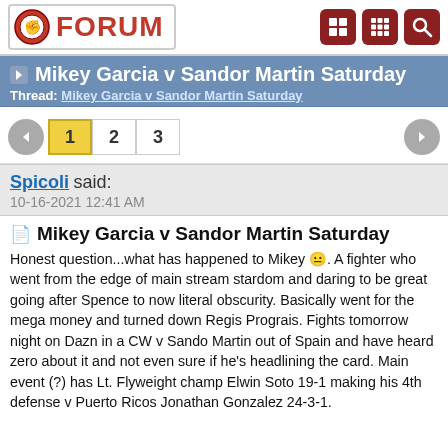FORUM
Mikey Garcia v Sandor Martin Saturday
Thread: Mikey Garcia v Sandor Martin Saturday
1 2 3
Spicoli said:
10-16-2021 12:41 AM
Mikey Garcia v Sandor Martin Saturday
Honest question...what has happened to Mikey. A fighter who went from the edge of main stream stardom and daring to be great going after Spence to now literal obscurity. Basically went for the mega money and turned down Regis Prograis. Fights tomorrow night on Dazn in a CW v Sando Martin out of Spain and have heard zero about it and not even sure if he's headlining the card. Main event (?) has Lt. Flyweight champ Elwin Soto 19-1 making his 4th defense v Puerto Ricos Jonathan Gonzalez 24-3-1.